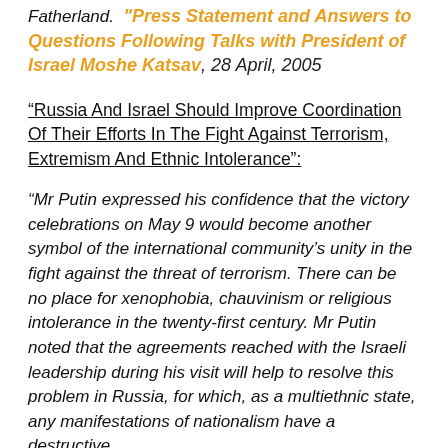Press Statement and Answers to Questions Following Talks with President of Israel Moshe Katsav, 28 April, 2005
“Russia And Israel Should Improve Coordination Of Their Efforts In The Fight Against Terrorism, Extremism And Ethnic Intolerance”:
“Mr Putin expressed his confidence that the victory celebrations on May 9 would become another symbol of the international community’s unity in the fight against the threat of terrorism. There can be no place for xenophobia, chauvinism or religious intolerance in the twenty-first century. Mr Putin noted that the agreements reached with the Israeli leadership during his visit will help to resolve this problem in Russia, for which, as a multiethnic state, any manifestations of nationalism have a destructive